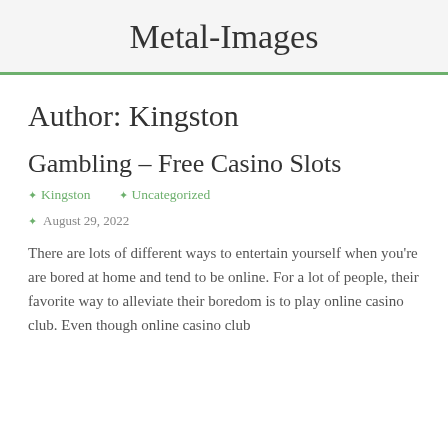Metal-Images
Author: Kingston
Gambling – Free Casino Slots
✦ Kingston    ✦ Uncategorized
✦   August 29, 2022
There are lots of different ways to entertain yourself when you're are bored at home and tend to be online. For a lot of people, their favorite way to alleviate their boredom is to play online casino club. Even though online casino club